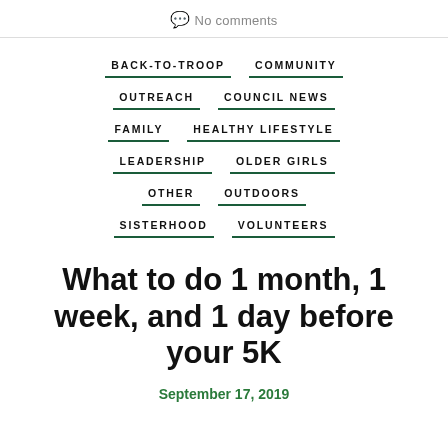No comments
BACK-TO-TROOP
COMMUNITY
OUTREACH
COUNCIL NEWS
FAMILY
HEALTHY LIFESTYLE
LEADERSHIP
OLDER GIRLS
OTHER
OUTDOORS
SISTERHOOD
VOLUNTEERS
What to do 1 month, 1 week, and 1 day before your 5K
September 17, 2019